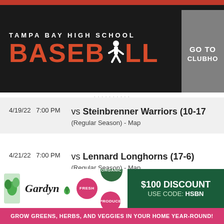TAMPA BAY HIGH SCHOOL BASEBALL
4/19/22 7:00 PM vs Steinbrenner Warriors (10-17) (Regular Season) - Map
4/21/22 7:00 PM vs Lennard Longhorns (17-6) (Regular Season) - Map
[Figure (other): Partially visible third schedule item, cropped]
[Figure (other): Gardyn advertisement banner: Gardyn logo, FRESH/PRODUCE/ORGANIC bubbles, $100 DISCOUNT USE CODE: HSBN, GROW GREENS, HERBS, AND VEGGIES IN YOUR HOME YEAR-ROUND!]